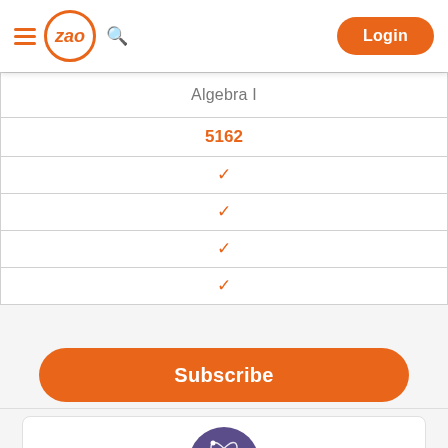ZAO — Login
| Algebra I |
| --- |
| 5162 |
| ✓ |
| ✓ |
| ✓ |
| ✓ |
Subscribe
[Figure (illustration): Purple circular icon depicting an atom with orbiting electrons and dots, representing science/special education]
Special Education: Core Knowledge and Mild